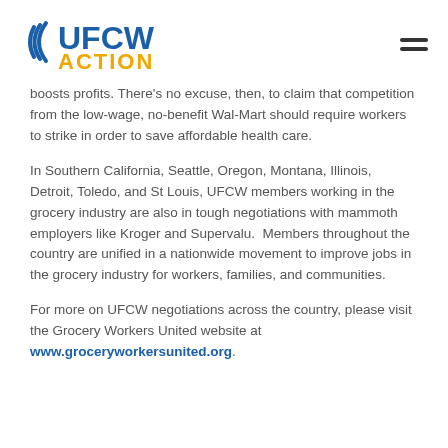[Figure (logo): UFCW Action logo with radio wave icon in blue and yellow/gold]
boosts profits. There's no excuse, then, to claim that competition from the low-wage, no-benefit Wal-Mart should require workers to strike in order to save affordable health care.
In Southern California, Seattle, Oregon, Montana, Illinois, Detroit, Toledo, and St Louis, UFCW members working in the grocery industry are also in tough negotiations with mammoth employers like Kroger and Supervalu. Members throughout the country are unified in a nationwide movement to improve jobs in the grocery industry for workers, families, and communities.
For more on UFCW negotiations across the country, please visit the Grocery Workers United website at www.groceryworkersunited.org.